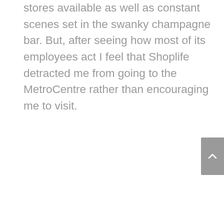stores available as well as constant scenes set in the swanky champagne bar. But, after seeing how most of its employees act I feel that Shoplife detracted me from going to the MetroCentre rather than encouraging me to visit.